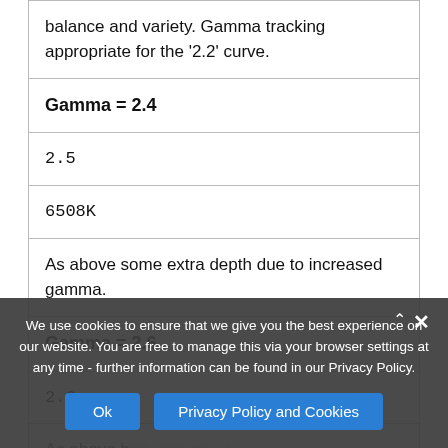| balance and variety. Gamma tracking appropriate for the '2.2' curve. |
| Gamma = 2.4 |
| 2.5 |
| 6508K |
| As above some extra depth due to increased gamma. |
| Gamma = 2.6 |
| 2.6 |
| As above with extra depth due to high gamma. A deep and more complex correction for very dark shades. |
We use cookies to ensure that we give you the best experience on our website. You are free to manage this via your browser settings at any time - further information can be found in our Privacy Policy.